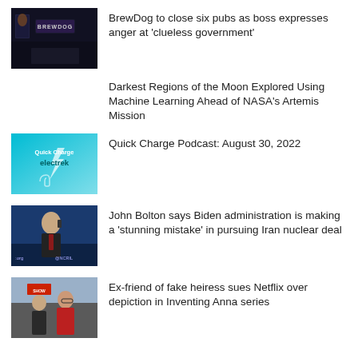[Figure (photo): BrewDog pub front with sign at night]
BrewDog to close six pubs as boss expresses anger at ‘clueless government’
Darkest Regions of the Moon Explored Using Machine Learning Ahead of NASA’s Artemis Mission
[Figure (photo): Quick Charge electrek podcast logo on blue background]
Quick Charge Podcast: August 30, 2022
[Figure (photo): John Bolton speaking at an event with NCRI banner]
John Bolton says Biden administration is making a ‘stunning mistake’ in pursuing Iran nuclear deal
[Figure (photo): Two women standing outside, related to Inventing Anna Netflix series]
Ex-friend of fake heiress sues Netflix over depiction in Inventing Anna series